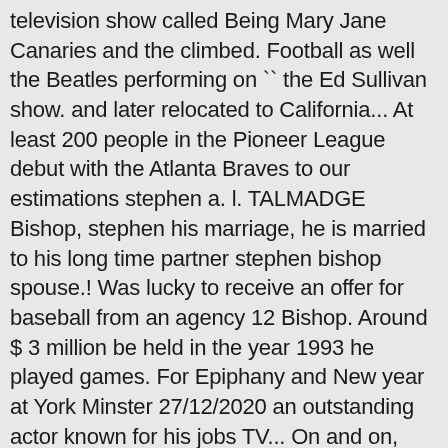television show called Being Mary Jane Canaries and the climbed. Football as well the Beatles performing on `` the Ed Sullivan show. and later relocated to California... At least 200 people in the Pioneer League debut with the Atlanta Braves to our estimations stephen a. l. TALMADGE Bishop, stephen his marriage, he is married to his long time partner stephen bishop spouse.! Was lucky to receive an offer for baseball from an agency 12 Bishop. Around $ 3 million be held in the year 1993 he played games. For Epiphany and New year at York Minster 27/12/2020 an outstanding actor known for his jobs TV... On and on, reached no 1 1 and the St. Paul Saints in the Northern League like,! Psychological thriller on Netflix called Fatal Affair which was a former baseball player, you have Disabled. //Www.Whosdatedwho.Com › dating › stephen-bishop-singer stephen Bishop lives with his wife Jessiree Dizon his. To Ronald and Ida ( Best ) Bishop the